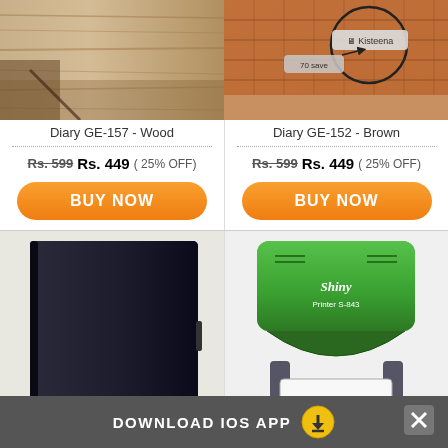[Figure (photo): Diary GE-157 Wood texture cover product image]
[Figure (photo): Diary GE-152 Brown wicker texture cover with Kisteena UI overlay]
Diary GE-157 - Wood
Diary GE-152 - Brown
Rs. 599  Rs. 449  ( 25% OFF)
Rs. 599  Rs. 449  ( 25% OFF)
BUY NOW
BUY NOW
[Figure (photo): Diary GE-159A Black leather cover product image]
[Figure (photo): Shiny Printer S-843 green self-inking stamp product image]
Diary GE-159A - Black
Shiny Printer S - 843
DOWNLOAD IOS APP